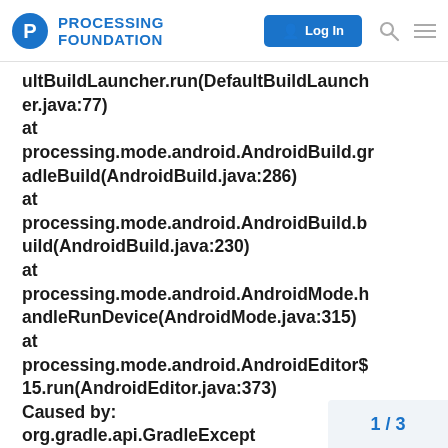PROCESSING FOUNDATION  Log In
ultBuildLauncher.run(DefaultBuildLauncher.java:77)
at
processing.mode.android.AndroidBuild.gradleBuild(AndroidBuild.java:286)
at
processing.mode.android.AndroidBuild.build(AndroidBuild.java:230)
at
processing.mode.android.AndroidMode.handleRunDevice(AndroidMode.java:315)
at
processing.mode.android.AndroidEditor$15.run(AndroidEditor.java:373)
Caused by:
org.gradle.api.GradleExcept start the daemon process.